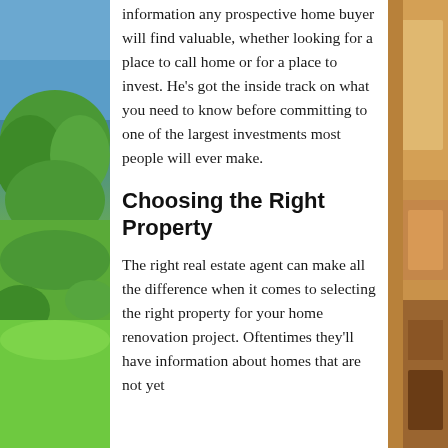information any prospective home buyer will find valuable, whether looking for a place to call home or for a place to invest. He's got the inside track on what you need to know before committing to one of the largest investments most people will ever make.
Choosing the Right Property
The right real estate agent can make all the difference when it comes to selecting the right property for your home renovation project. Oftentimes they'll have information about homes that are not yet